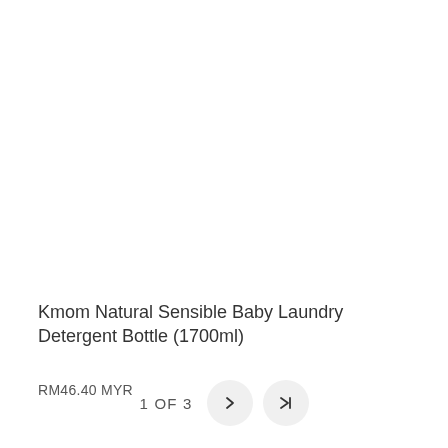Kmom Natural Sensible Baby Laundry Detergent Bottle (1700ml)
RM46.40 MYR
1 OF 3